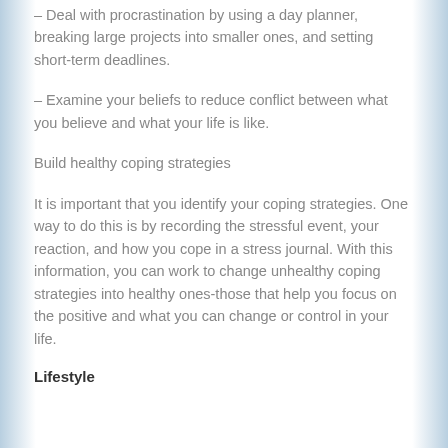– Deal with procrastination by using a day planner, breaking large projects into smaller ones, and setting short-term deadlines.
– Examine your beliefs to reduce conflict between what you believe and what your life is like.
Build healthy coping strategies
It is important that you identify your coping strategies. One way to do this is by recording the stressful event, your reaction, and how you cope in a stress journal. With this information, you can work to change unhealthy coping strategies into healthy ones-those that help you focus on the positive and what you can change or control in your life.
Lifestyle